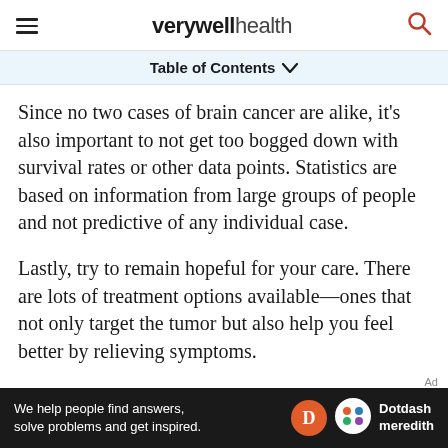verywell health
Table of Contents
Since no two cases of brain cancer are alike, it's also important to not get too bogged down with survival rates or other data points. Statistics are based on information from large groups of people and not predictive of any individual case.
Lastly, try to remain hopeful for your care. There are lots of treatment options available—ones that not only target the tumor but also help you feel better by relieving symptoms.
There is even a new class of cancer treatment drugs called immunotherapy drugs. These drugs
We help people find answers, solve problems and get inspired. Dotdash meredith